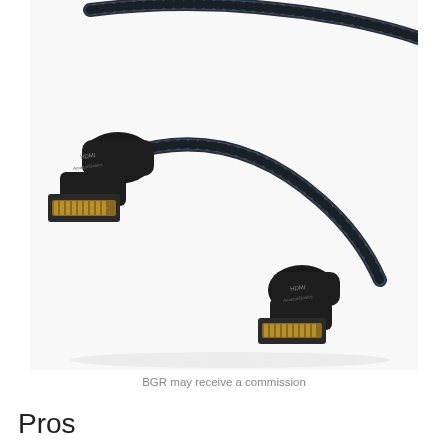[Figure (photo): Two HDMI cable connectors with braided black/dark blue cable, showing gold-plated HDMI male connectors. The connectors have 'HDMI' and 'AmazonBasics' text on the black strain relief housings.]
BGR may receive a commission
Pros